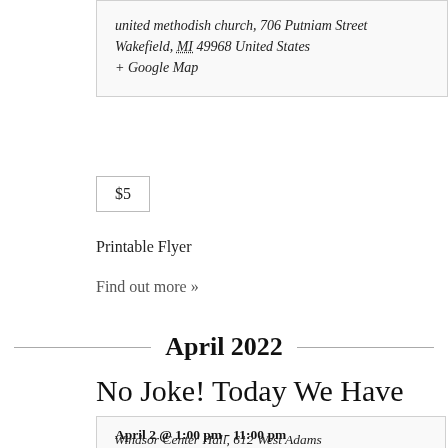united methodish church, 706 Putniam Street
Wakefield, MI 49968 United States
+ Google Map
$5
Printable Flyer
Find out more »
April 2022
No Joke! Today We Have HOPE!
April 2 @ 1:00 pm - 11:00 pm
Windsor Center Hall, 612 West Adams